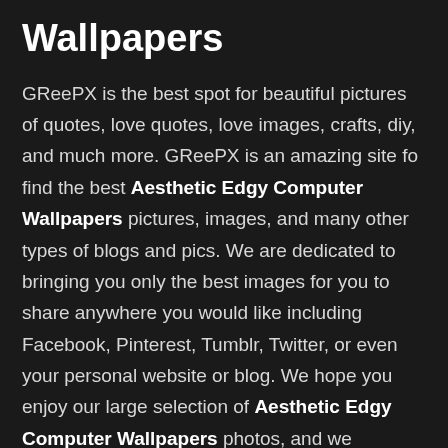Wallpapers
GReePX is the best spot for beautiful pictures of quotes, love quotes, love images, crafts, diy, and much more. GReePX is an amazing site fo find the best Aesthetic Edgy Computer Wallpapers pictures, images, and many other types of blogs and pics. We are dedicated to bringing you only the best images for you to share anywhere you would like including Facebook, Pinterest, Tumblr, Twitter, or even your personal website or blog. We hope you enjoy our large selection of Aesthetic Edgy Computer Wallpapers photos, and we encourage you to sign up so you can save all of your favorite pictures and images to your user profile. It's